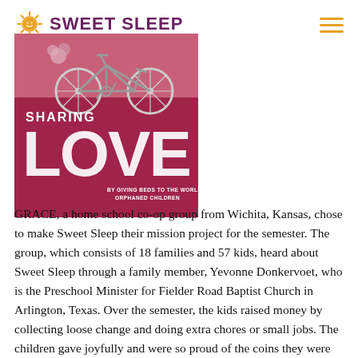SWEET SLEEP
[Figure (illustration): Sweet Sleep book cover showing a bicycle illustration with 'SHARING LOVE BY GIVING BEDS TO THE WORLD'S ORPHANED CHILDREN' text on a magenta/pink background]
GRACE, a home school co-op group from Wichita, Kansas, chose to make Sweet Sleep their mission project for the semester. The group, which consists of 18 families and 57 kids, heard about Sweet Sleep through a family member, Yevonne Donkervoet, who is the Preschool Minister for Fielder Road Baptist Church in Arlington, Texas. Over the semester, the kids raised money by collecting loose change and doing extra chores or small jobs. The children gave joyfully and were so proud of the coins they were able to contribute each week.